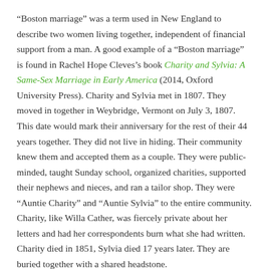“Boston marriage” was a term used in New England to describe two women living together, independent of financial support from a man. A good example of a “Boston marriage” is found in Rachel Hope Cleves’s book Charity and Sylvia: A Same-Sex Marriage in Early America (2014, Oxford University Press). Charity and Sylvia met in 1807. They moved in together in Weybridge, Vermont on July 3, 1807. This date would mark their anniversary for the rest of their 44 years together. They did not live in hiding. Their community knew them and accepted them as a couple. They were public-minded, taught Sunday school, organized charities, supported their nephews and nieces, and ran a tailor shop. They were “Auntie Charity” and “Auntie Sylvia” to the entire community. Charity, like Willa Cather, was fiercely private about her letters and had her correspondents burn what she had written. Charity died in 1851, Sylvia died 17 years later. They are buried together with a shared headstone.